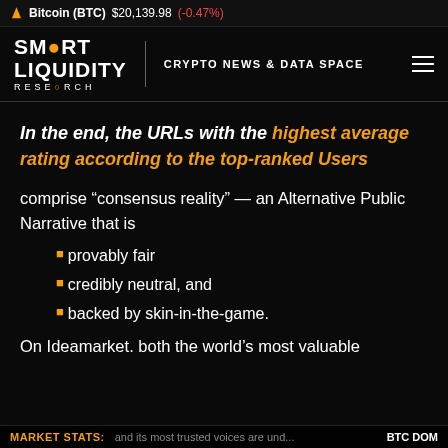Bitcoin (BTC) $20,139.98 (-0.47%)
[Figure (logo): Smart Liquidity Research logo with lightbulb icon and text 'CRYPTO NEWS & DATA SPACE' and hamburger menu]
In the end, the URLs with the highest average rating according to the top-ranked Users
comprise “consensus reality” — an Alternative Public Narrative that is
•provably fair
•credibly neutral, and
•backed by skin-in-the-game.
On Ideamarket. both the world’s most valuable
MARKET STATS:   and its most trusted voices are und...   BTC DOM